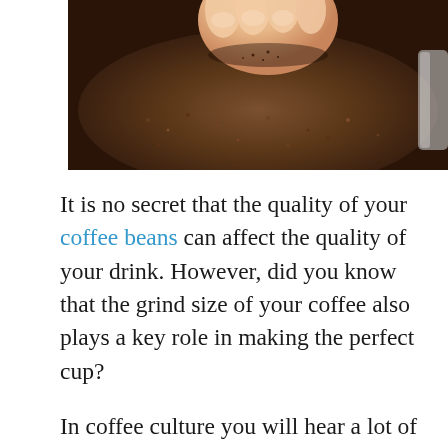[Figure (photo): Close-up photo of a hand pinching ground coffee over a dark coffee grinder bowl filled with coffee grounds]
It is no secret that the quality of your coffee beans can affect the quality of your drink. However, did you know that the grind size of your coffee also plays a key role in making the perfect cup?
In coffee culture you will hear a lot of talk about using a specific type of grind for different types of drinks. Don't worry if you aren't well versed in this topic.